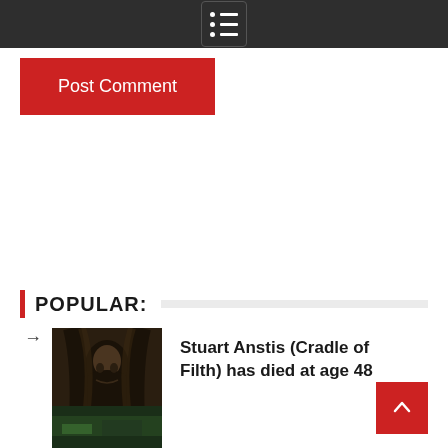Post Comment
POPULAR:
[Figure (photo): Black and white portrait photo of Stuart Anstis (Cradle of Filth), dark gothic aesthetic]
Stuart Anstis (Cradle of Filth) has died at age 48
[Figure (photo): Partial thumbnail of a second article image, cropped at bottom of page]